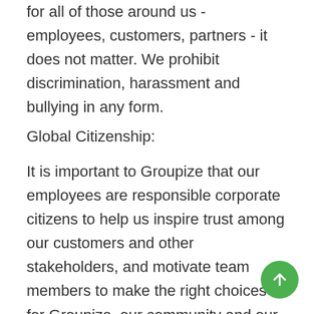for all of those around us - employees, customers, partners - it does not matter. We prohibit discrimination, harassment and bullying in any form.
Global Citizenship:
It is important to Groupize that our employees are responsible corporate citizens to help us inspire trust among our customers and other stakeholders, and motivate team members to make the right choices for Groupize, our community and our planet. Groupize wants to make a difference in the